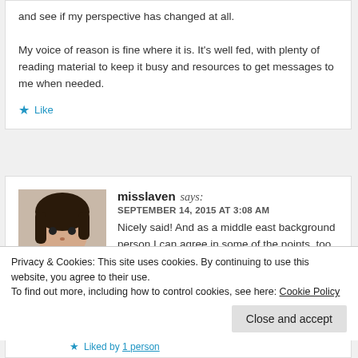and see if my perspective has changed at all.

My voice of reason is fine where it is. It's well fed, with plenty of reading material to keep it busy and resources to get messages to me when needed.
Like
misslaven says:
SEPTEMBER 14, 2015 AT 3:08 AM
Nicely said! And as a middle east background person I can agree in some of the points, too. Especially, when I was looking for my right shade in
Privacy & Cookies: This site uses cookies. By continuing to use this website, you agree to their use.
To find out more, including how to control cookies, see here: Cookie Policy
Close and accept
Liked by 1 person